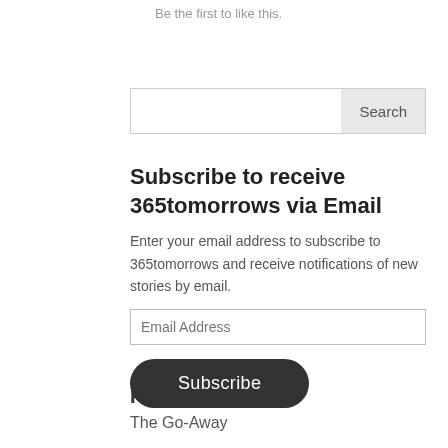Be the first to like this.
[Figure (other): Search bar with text input and Search button]
Subscribe to receive 365tomorrows via Email
Enter your email address to subscribe to 365tomorrows and receive notifications of new stories by email.
[Figure (other): Email Address input field]
[Figure (other): Subscribe button (dark rounded)]
Random Story
The Go-Away